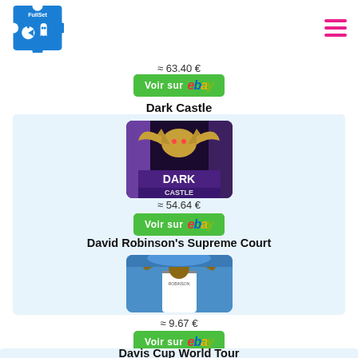[Figure (logo): FullSet logo: blue puzzle piece with Pac-Man ghost icons]
≈ 63.40 €
Voir sur ebay
Dark Castle
[Figure (photo): Dark Castle game cartridge cover art showing a winged creature over purple/dark background with DARK CASTLE text]
≈ 54.64 €
Voir sur ebay
David Robinson's Supreme Court
[Figure (photo): David Robinson basketball player dunking, wearing a Spurs jersey]
≈ 9.67 €
Voir sur ebay
Davis Cup World Tour